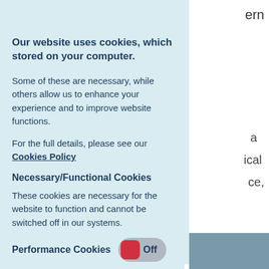Our website uses cookies, which stored on your computer.
Some of these are necessary, while others allow us to enhance your experience and to improve website functions.
For the full details, please see our Cookies Policy
Necessary/Functional Cookies
These cookies are necessary for the website to function and cannot be switched off in our systems.
Performance Cookies  Off
These cookies allow us to count visits and traffic sources so we can measure and improve the performance of our site.